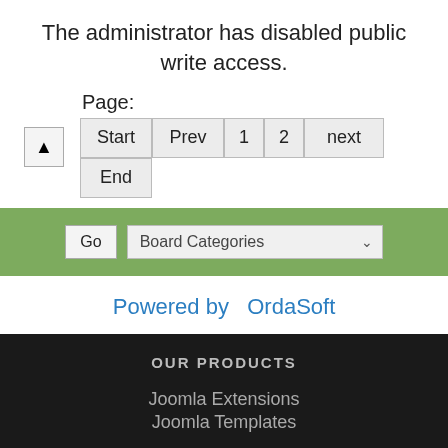The administrator has disabled public write access.
Page:
Start  Prev  1  2  next  End
Go  Board Categories
Powered by  OrdaSoft
OUR PRODUCTS
Joomla Extensions
Joomla Templates